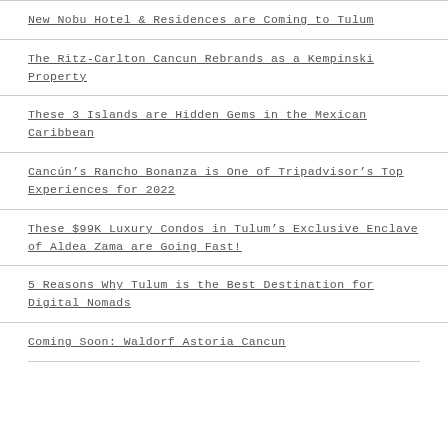New Nobu Hotel & Residences are Coming to Tulum
The Ritz-Carlton Cancun Rebrands as a Kempinski Property
These 3 Islands are Hidden Gems in the Mexican Caribbean
Cancún's Rancho Bonanza is One of Tripadvisor's Top Experiences for 2022
These $99K Luxury Condos in Tulum's Exclusive Enclave of Aldea Zama are Going Fast!
5 Reasons Why Tulum is the Best Destination for Digital Nomads
Coming Soon: Waldorf Astoria Cancun